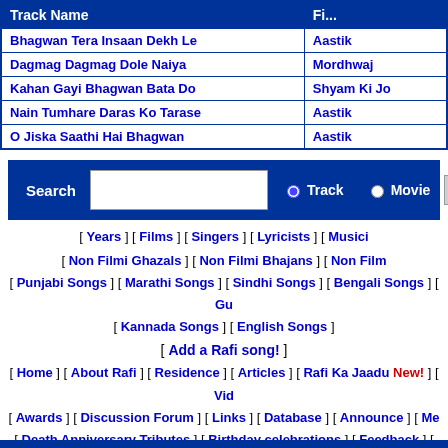| Track Name | Fi... |
| --- | --- |
| Bhagwan Tera Insaan Dekh Le | Aastik |
| Dagmag Dagmag Dole Naiya | Mordhwaj |
| Kahan Gayi Bhagwan Bata Do | Shyam Ki Jo... |
| Nain Tumhare Daras Ko Tarase | Aastik |
| O Jiska Saathi Hai Bhagwan | Aastik |
[Figure (other): Search form with text input, Track/Movie radio buttons, and Find!! button]
[ Years ] [ Films ] [ Singers ] [ Lyricists ] [ Musici...
[ Non Filmi Ghazals ] [ Non Filmi Bhajans ] [ Non Film... [ Punjabi Songs ] [ Marathi Songs ] [ Sindhi Songs ] [ Bengali Songs ] [ Gu... [ Kannada Songs ] [ English Songs ]
[ Add a Rafi song! ]
[ Home ] [ About Rafi ] [ Residence ] [ Articles ] [ Rafi Ka Jaadu New! ] [ Vid... [ Awards ] [ Discussion Forum ] [ Links ] [ Database ] [ Announce ] [ Me... [ Death Anniversary Tributes ] [ Birthday celebrations ] [ Feedback ] [
Copyright ◆ 2000-2007. All Rights Reserved. Entries (RSS) and Comments...